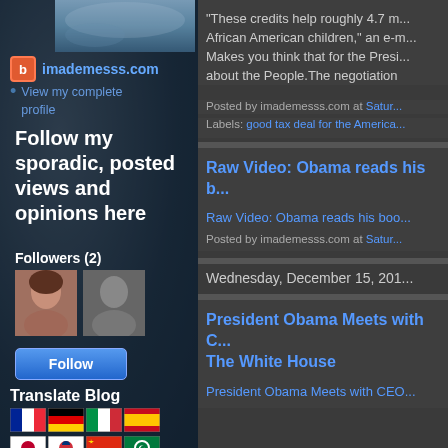[Figure (screenshot): Blog sidebar with profile image, blogger link, follow section, translate blog section with flag icons]
imademesss.com
View my complete profile
Follow my sporadic, posted views and opinions here
Followers (2)
Follow
Translate Blog
"These credits help roughly 4.7 m... African American children," an e-m... Makes you think that for the Presi... about the People.The negotiation
Posted by imademesss.com at Satur...
Labels: good tax deal for the America...
Raw Video: Obama reads his b...
Raw Video: Obama reads his boo...
Posted by imademesss.com at Satur...
Wednesday, December 15, 201...
President Obama Meets with C... The White House
President Obama Meets with CEO...